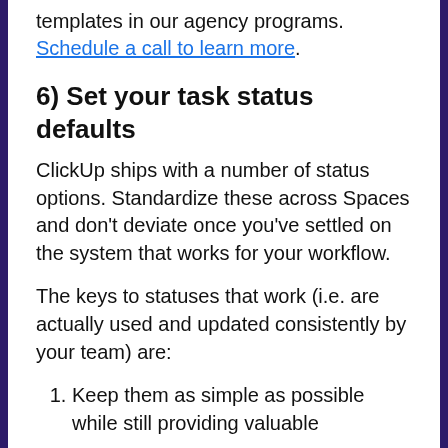templates in our agency programs. Schedule a call to learn more.
6) Set your task status defaults
ClickUp ships with a number of status options. Standardize these across Spaces and don't deviate once you've settled on the system that works for your workflow.
The keys to statuses that work (i.e. are actually used and updated consistently by your team) are:
Keep them as simple as possible while still providing valuable